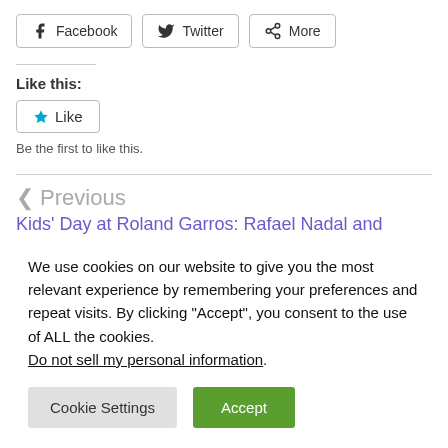[Figure (other): Share buttons: Facebook, Twitter, More]
Like this:
[Figure (other): Like button with star icon]
Be the first to like this.
< Previous   Kids' Day at Roland Garros: Rafael Nadal and Novak Diokovic play doubles together
We use cookies on our website to give you the most relevant experience by remembering your preferences and repeat visits. By clicking “Accept”, you consent to the use of ALL the cookies. Do not sell my personal information.
[Figure (other): Cookie Settings and Accept buttons]